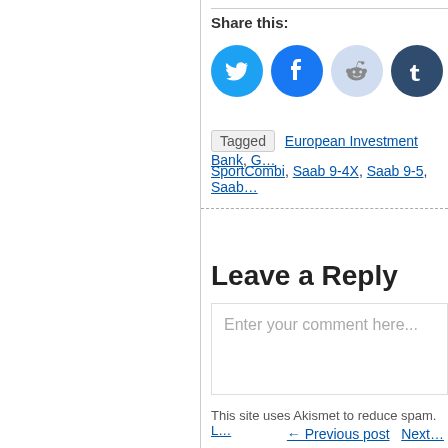Share this:
[Figure (other): Four circular social media share buttons: Twitter (blue), Facebook (blue), Reddit (light blue/grey), Tumblr (dark blue)]
Tagged European Investment Bank, G... SportCombi, Saab 9-4X, Saab 9-5, Saab...
Leave a Reply
Enter your comment here...
This site uses Akismet to reduce spam. L...
← Previous post   Next post →